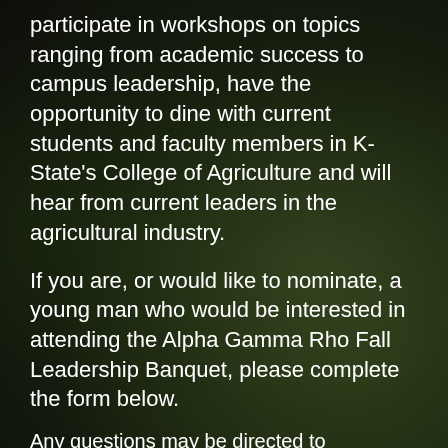participate in workshops on topics ranging from academic success to campus leadership, have the opportunity to dine with current students and faculty members in K-State's College of Agriculture and will hear from current leaders in the agricultural industry.
If you are, or would like to nominate, a young man who would be interested in attending the Alpha Gamma Rho Fall Leadership Banquet, please complete the form below.
Any questions may be directed to
Riley Sleichter, VNR Recruitment
(785) 280-9375 rsleichter@ksu.edu